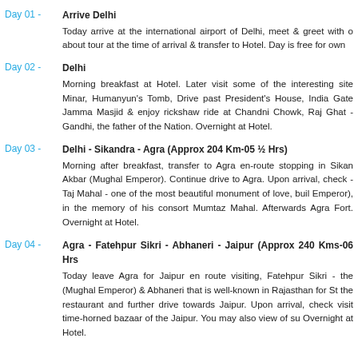Day 01 - Arrive Delhi
Today arrive at the international airport of Delhi, meet & greet with our representative about tour at the time of arrival & transfer to Hotel. Day is free for own activities.
Day 02 - Delhi
Morning breakfast at Hotel. Later visit some of the interesting sites of Delhi like Qutub Minar, Humanyun's Tomb, Drive past President's House, India Gate, Parliament House, Jamma Masjid & enjoy rickshaw ride at Chandni Chowk, Raj Ghat - dedicated to Mahatma Gandhi, the father of the Nation. Overnight at Hotel.
Day 03 - Delhi - Sikandra - Agra (Approx 204 Km-05 ½ Hrs)
Morning after breakfast, transfer to Agra en-route stopping in Sikandra to visit the tomb of Akbar (Mughal Emperor). Continue drive to Agra. Upon arrival, check in to hotel. Later visit - Taj Mahal - one of the most beautiful monument of love, built by Shah Jahan (Mughal Emperor), in the memory of his consort Mumtaz Mahal. Afterwards visit magnificent Agra Fort. Overnight at Hotel.
Day 04 - Agra - Fatehpur Sikri - Abhaneri - Jaipur (Approx 240 Kms-06 Hrs)
Today leave Agra for Jaipur en route visiting, Fatehpur Sikri - the deserted city of Akbar (Mughal Emperor) & Abhaneri that is well-known in Rajasthan for Step-well. Lunch stop at the restaurant and further drive towards Jaipur. Upon arrival, check in to hotel. Evening visit time-horned bazaar of the Jaipur. You may also view of sunset at Nahargarh Fort. Overnight at Hotel.